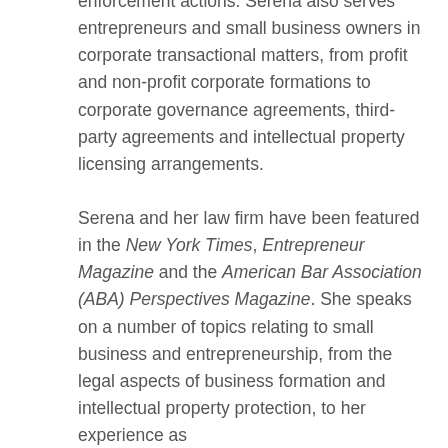enforcement actions. Serena also serves entrepreneurs and small business owners in corporate transactional matters, from profit and non-profit corporate formations to corporate governance agreements, third-party agreements and intellectual property licensing arrangements.

Serena and her law firm have been featured in the New York Times, Entrepreneur Magazine and the American Bar Association (ABA) Perspectives Magazine. She speaks on a number of topics relating to small business and entrepreneurship, from the legal aspects of business formation and intellectual property protection, to her experience as